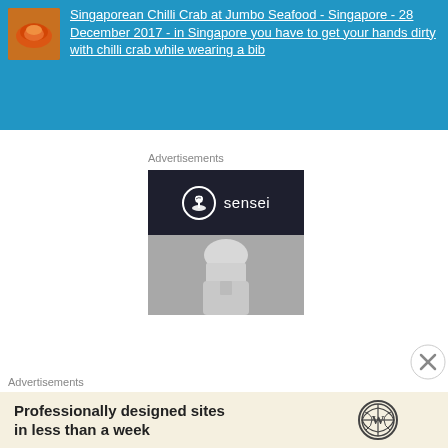[Figure (screenshot): Blue banner with food thumbnail image and hyperlink text: Singaporean Chilli Crab at Jumbo Seafood - Singapore - 28 December 2017 - in Singapore you have to get your hands dirty with chilli crab while wearing a bib]
Advertisements
[Figure (logo): Sensei advertisement - dark navy top portion with Sensei logo (circle with bonsai tree icon and 'sensei' text), grey lower portion showing a chef in white uniform]
Advertisements
[Figure (screenshot): WordPress advertisement banner: 'Professionally designed sites in less than a week' with WordPress logo icon, on a cream/beige background]
[Figure (other): Close/dismiss button (circle with X)]